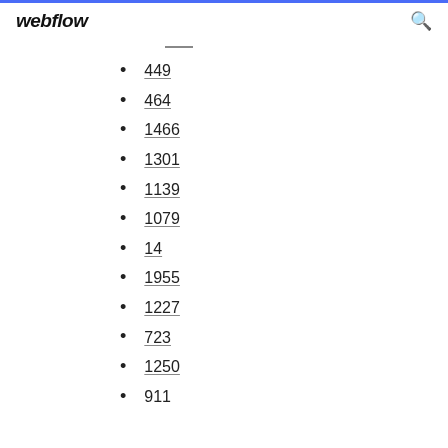webflow
449
464
1466
1301
1139
1079
14
1955
1227
723
1250
911